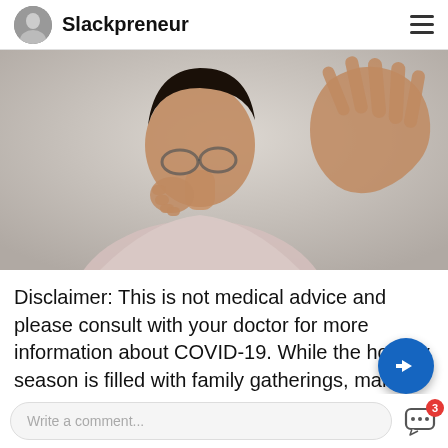Slackpreneur
[Figure (photo): A man coughing into his fist while raising his other hand palm-out in a stop gesture, wearing glasses and a light pink shirt, against a light gray background.]
Disclaimer: This is not medical advice and please consult with your doctor for more information about COVID-19. While the holiday season is filled with family gatherings, many people are worried ab